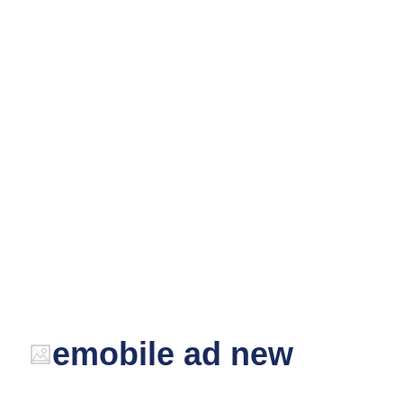[Figure (other): Yellow horizontal decorative bar/rule]
[Figure (other): Broken image icon followed by text 'emobile ad new' in dark navy bold font]